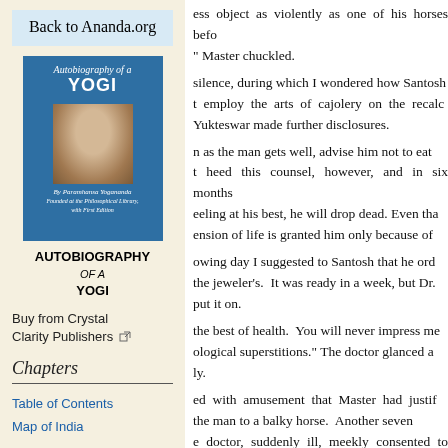Back to Ananda.org
[Figure (illustration): Book cover of Autobiography of a Yogi by Paramhansa Yogananda, blue cover with photo of the author]
AUTOBIOGRAPHY OF A YOGI
Buy from Crystal Clarity Publishers
Chapters
Table of Contents
Map of India
ess object as violently as one of his horses befo " Master chuckled. silence, during which I wondered how Santosh t employ the arts of cajolery on the recalc Yukteswar made further disclosures. n as the man gets well, advise him not to eat t heed this counsel, however, and in six months eeling at his best, he will drop dead. Even tha ension of life is granted him only because of owing day I suggested to Santosh that he ord the jeweler's. It was ready in a week, but Dr. put it on. the best of health. You will never impress me ological superstitions." The doctor glanced a ly. ed with amusement that Master had justif the man to a balky horse. Another seven e doctor, suddenly ill, meekly consented to wea vo weeks later the physician in attendance tol atient's case was hopeless. He supplied harro he ravages inflicted by diabetes. my head. "My guru has said that, after a sic e month, Dr. Roy will be well." sician stared at me incredulously. But he soug ight later, with an apologetic air.